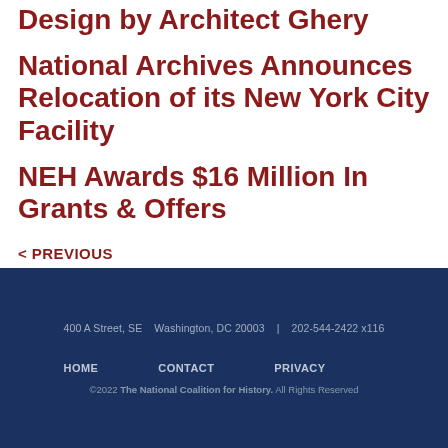Design by Architect Ghery
National Archives Announces Relocation of its New York City Facility
NEH Awards $16 Million In Grants & Offers
< PREVIOUS
400 A Street, SE   Washington, DC 20003   |   202-544-2422 x116
HOME   CONTACT   PRIVACY
©2022 The National Coalition for History. All Rights Reserved